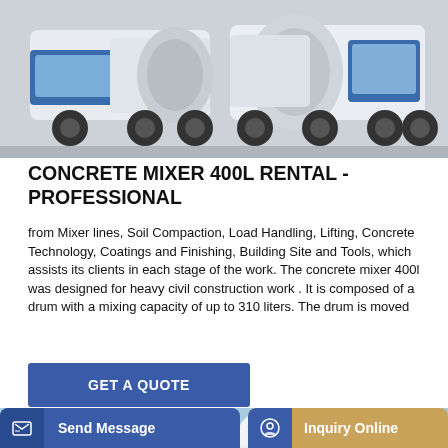[Figure (photo): Photograph of a white concrete mixer truck from the front-left angle, on a light grey background. Multiple axles visible with blue and white cab.]
CONCRETE MIXER 400L RENTAL - PROFESSIONAL
from Mixer lines, Soil Compaction, Load Handling, Lifting, Concrete Technology, Coatings and Finishing, Building Site and Tools, which assists its clients in each stage of the work. The concrete mixer 400l was designed for heavy civil construction work . It is composed of a drum with a mixing capacity of up to 310 liters. The drum is moved
[Figure (photo): Photograph of large white cylindrical silos with Chinese characters on them, set against a blue sky with clouds. Red flag on top.]
Send Message
Inquiry Online